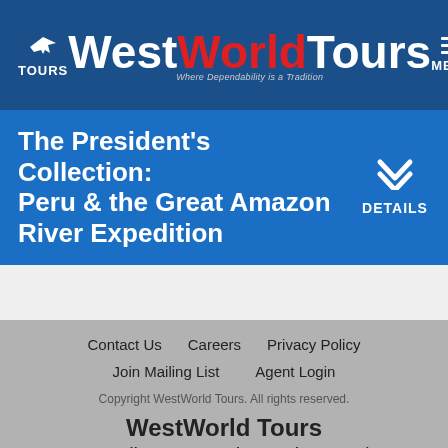TOURS | WestWorld Tours — Where Dependability is a Tradition | MENU
The President's Collection: Peru & the Great Amazon River Expedition
DETAILS
Contact Us   Careers   Privacy Policy   Join Mailing List   Agent Login
Copyright WestWorld Tours. All rights reserved.
WestWorld Tours
200 Albert St North, Regina, SK | 877-522-TOUR (8687) | 306-751-